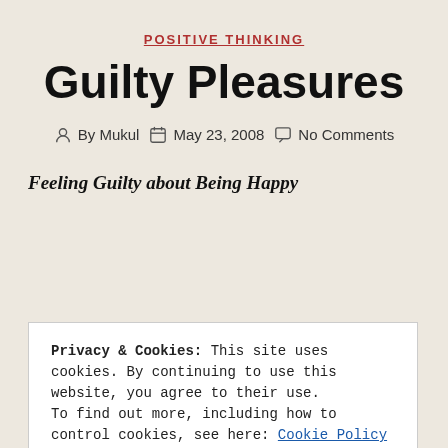POSITIVE THINKING
Guilty Pleasures
By Mukul   May 23, 2008   No Comments
Feeling Guilty about Being Happy
Privacy & Cookies: This site uses cookies. By continuing to use this website, you agree to their use. To find out more, including how to control cookies, see here: Cookie Policy
CLOSE AND ACCEPT
yourself and what it means for you to be happy.